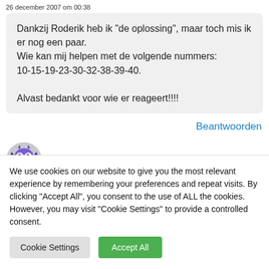26 december 2007 om 00:38
Dankzij Roderik heb ik "de oplossing", maar toch mis ik er nog een paar.
Wie kan mij helpen met de volgende nummers:
10-15-19-23-30-32-38-39-40.

Alvast bedankt voor wie er reageert!!!!
Beantwoorden
[Figure (illustration): Purple cartoon monster avatar with wings and big eyes]
Simon schreef:
We use cookies on our website to give you the most relevant experience by remembering your preferences and repeat visits. By clicking "Accept All", you consent to the use of ALL the cookies. However, you may visit "Cookie Settings" to provide a controlled consent.